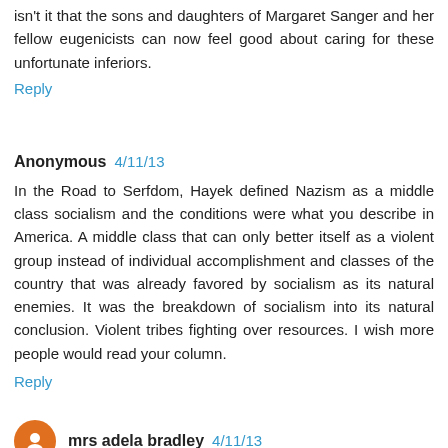isn't it that the sons and daughters of Margaret Sanger and her fellow eugenicists can now feel good about caring for these unfortunate inferiors.
Reply
Anonymous  4/11/13
In the Road to Serfdom, Hayek defined Nazism as a middle class socialism and the conditions were what you describe in America. A middle class that can only better itself as a violent group instead of individual accomplishment and classes of the country that was already favored by socialism as its natural enemies. It was the breakdown of socialism into its natural conclusion. Violent tribes fighting over resources. I wish more people would read your column.
Reply
mrs adela bradley  4/11/13